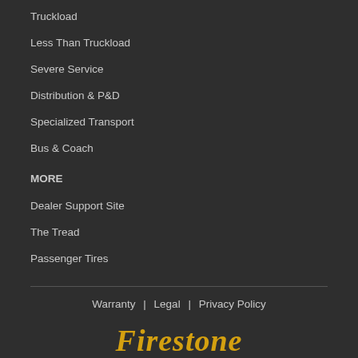Truckload
Less Than Truckload
Severe Service
Distribution & P&D
Specialized Transport
Bus & Coach
MORE
Dealer Support Site
The Tread
Passenger Tires
Warranty | Legal | Privacy Policy
[Figure (logo): Firestone logo in gold/yellow italic serif font]
© 2022 Bridgestone Americas Tire Operations LLC All Rights Reserved